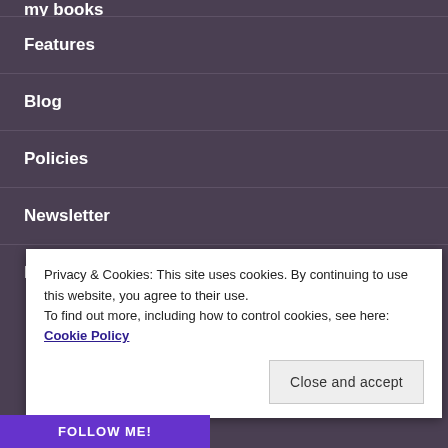My Books
Features
Blog
Policies
Newsletter
Lost Souls Trilogy
Privacy & Cookies: This site uses cookies. By continuing to use this website, you agree to their use.
To find out more, including how to control cookies, see here: Cookie Policy
Close and accept
FOLLOW ME!